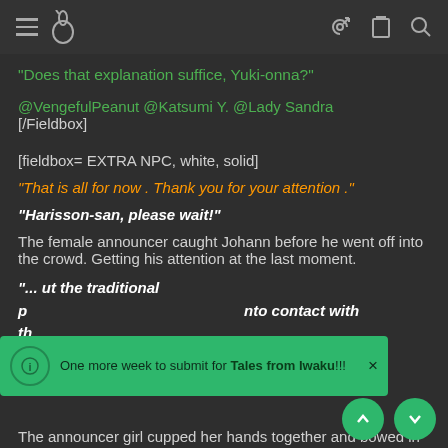[hamburger menu] [rabbit icon] [key icon] [clipboard icon] [search icon]
"Does that explanation suffice, Yuki-onna?"
@VengefulPeanut @Katsumi Y. @Lady Sandra
[/Fieldbox]
[fieldbox= EXTRA NPC, white, solid]
"That is all for now . Thank you for your attention ."
"Harisson-san, please wait!"
The female announcer caught Johann before he went off into the crowd. Getting his attention at the last moment.
"...ut the traditional p...nto contact with th...
One more week to submit for Tales from Iwaku!!!
The announcer girl cupped her hands together and bowed in a